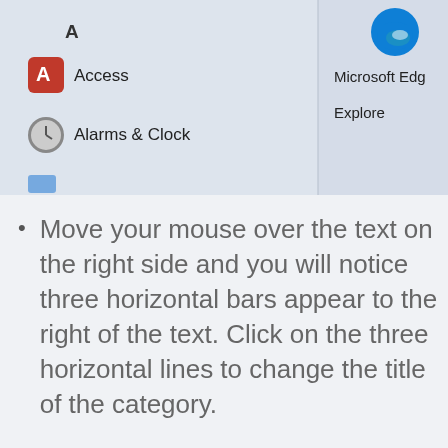[Figure (screenshot): Windows 11 Start Menu screenshot showing alphabetical app listing with 'A' heading, Access app with red icon, Alarms & Clock app with clock icon on the left panel, and Microsoft Edge with logo and 'Explore' text on the right panel.]
Move your mouse over the text on the right side and you will notice three horizontal bars appear to the right of the text. Click on the three horizontal lines to change the title of the category.